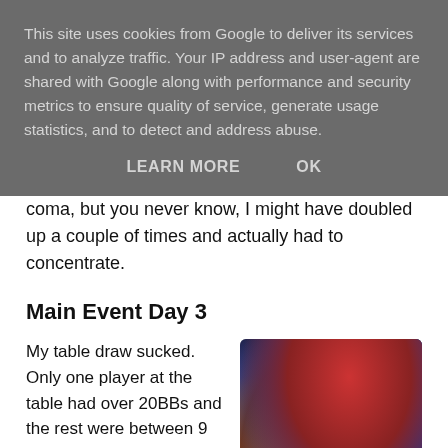This site uses cookies from Google to deliver its services and to analyze traffic. Your IP address and user-agent are shared with Google along with performance and security metrics to ensure quality of service, generate usage statistics, and to detect and address abuse.
LEARN MORE    OK
coma, but you never know, I might have doubled up a couple of times and actually had to concentrate.
Main Event Day 3
My table draw sucked. Only one player at the table had over 20BBs and the rest were between 9 and 18BBs. Everyone at the table were experienced pros with Dara O'Kearney on
[Figure (photo): Photo of a man with reddish-brown hair at what appears to be a poker tournament venue, with colorful lights and a red banner visible in the background.]